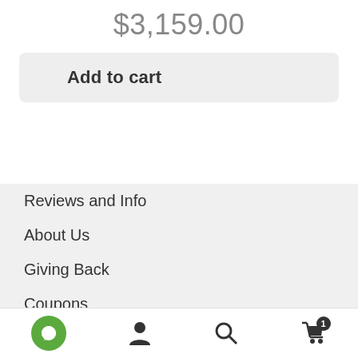$3,159.00
Add to cart
Reviews and Info
About Us
Giving Back
Coupons
Shipping and Return Policy
Financing Options
Terms and Conditions
[Figure (other): Bottom navigation bar with chat, user, search, and cart icons. Cart shows badge with number 1.]